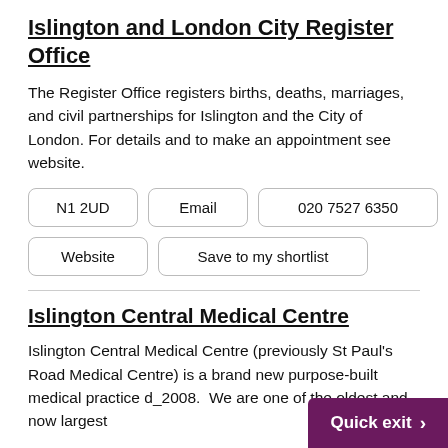Islington and London City Register Office
The Register Office registers births, deaths, marriages, and civil partnerships for Islington and the City of London. For details and to make an appointment see website.
N1 2UD | Email | 020 7527 6350
Website | Save to my shortlist
Islington Central Medical Centre
Islington Central Medical Centre (previously St Paul's Road Medical Centre) is a brand new purpose-built medical practice d... 2008. We are one of the oldest and now largest